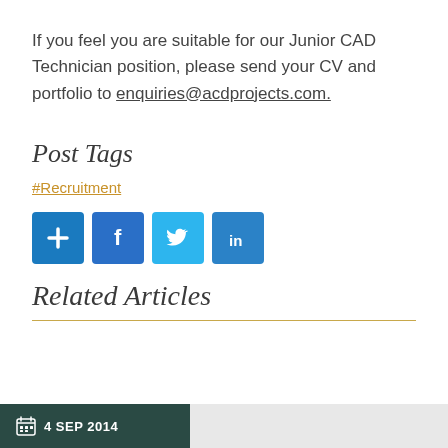If you feel you are suitable for our Junior CAD Technician position, please send your CV and portfolio to enquiries@acdprojects.com.
Post Tags
#Recruitment
[Figure (other): Social share icons: plus/add, Facebook, Twitter, LinkedIn]
Related Articles
4 SEP 2014